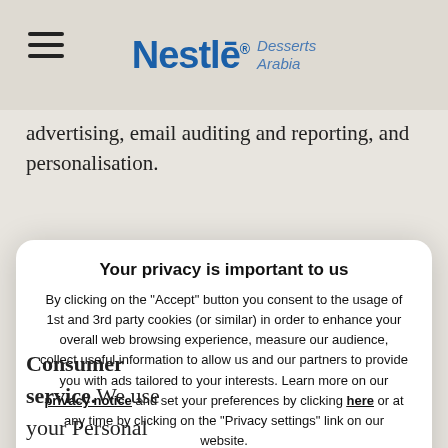[Figure (logo): Nestlé Desserts Arabia logo with hamburger menu icon]
advertising, email auditing and reporting, and personalisation.
Your privacy is important to us
By clicking on the "Accept" button you consent to the usage of 1st and 3rd party cookies (or similar) in order to enhance your overall web browsing experience, measure our audience, collect useful information to allow us and our partners to provide you with ads tailored to your interests. Learn more on our privacy notice and set your preferences by clicking here or at any time by clicking on the "Privacy settings" link on our website.
Accept    Decline
Consumer service. We use your Personal